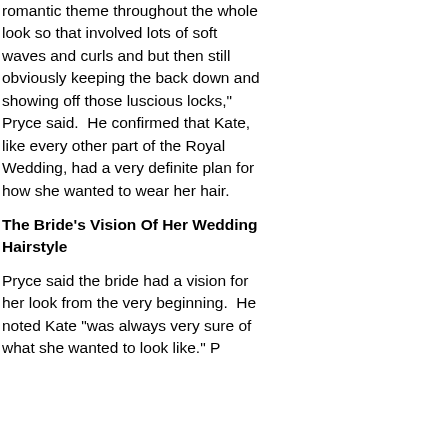romantic theme throughout the whole look so that involved lots of soft waves and curls and but then still obviously keeping the back down and showing off those luscious locks," Pryce said.  He confirmed that Kate, like every other part of the Royal Wedding, had a very definite plan for how she wanted to wear her hair.
The Bride's Vision Of Her Wedding Hairstyle
Pryce said the bride had a vision for her look from the very beginning.  He noted Kate "was always very sure of what she wanted to look like." P...